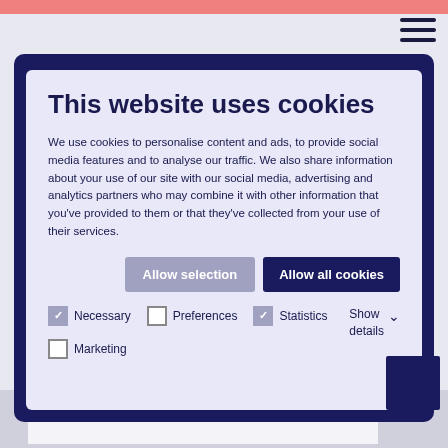[Figure (screenshot): Cookie consent dialog on a website. Shows a dark navy browser window with a cookie consent popup. The popup has a title 'This website uses cookies', body text about cookies usage, two buttons ('Allow selection' and 'Allow all cookies'), and checkboxes for Necessary (checked), Preferences (unchecked), Statistics (checked), Marketing (unchecked), plus a 'Show details' option.]
This website uses cookies
We use cookies to personalise content and ads, to provide social media features and to analyse our traffic. We also share information about your use of our site with our social media, advertising and analytics partners who may combine it with other information that you've provided to them or that they've collected from your use of their services.
Allow selection | Allow all cookies
Necessary (checked)
Preferences (unchecked)
Statistics (checked)
Marketing (unchecked)
Show details